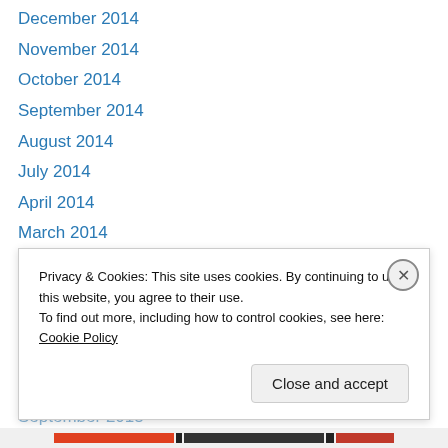December 2014
November 2014
October 2014
September 2014
August 2014
July 2014
April 2014
March 2014
February 2014
January 2014
December 2013
November 2013
October 2013
September 2013
Privacy & Cookies: This site uses cookies. By continuing to use this website, you agree to their use. To find out more, including how to control cookies, see here: Cookie Policy
Close and accept